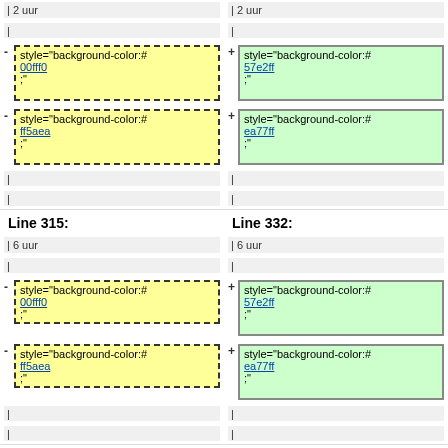| 2 uur
| 2 uur
style="background-color:#00fff0;"
style="background-color:#57e2ff;"
style="background-color:#ff5aea;"
style="background-color:#ea77ff;"
Line 315:
Line 332:
| 6 uur
| 6 uur
style="background-color:#00fff0;"
style="background-color:#57e2ff;"
style="background-color:#ff5aea;"
style="background-color:#ea77ff;"
Line 329:
Line 346:
style="background-color:#ff5aea;"
style="background-color:#ea77ff;"